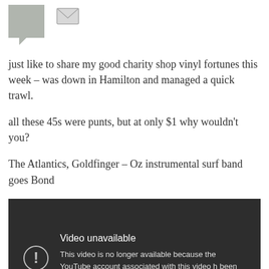[Figure (other): User avatar speech bubble with grey box and mail/envelope icon]
just like to share my good charity shop vinyl fortunes this week – was down in Hamilton and managed a quick trawl.
all these 45s were punts, but at only $1 why wouldn't you?
The Atlantics, Goldfinger – Oz instrumental surf band goes Bond
[Figure (screenshot): YouTube embedded video player showing error: 'Video unavailable. This video is no longer available because the YouTube account associated with this video has been terminated.']